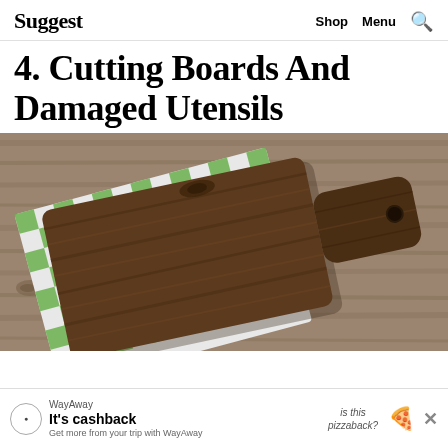Suggest  Shop  Menu  🔍
4. Cutting Boards And Damaged Utensils
[Figure (photo): A dark wooden cutting board with a handle and hanging hole, placed on a green and white checkered cloth napkin on a rustic wood surface.]
WayAway It's cashback Get more from your trip with WayAway